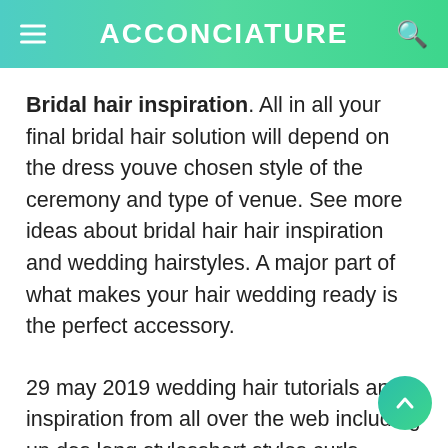ACCONCIATURE
Bridal hair inspiration. All in all your final bridal hair solution will depend on the dress youve chosen style of the ceremony and type of venue. See more ideas about bridal hair hair inspiration and wedding hairstyles. A major part of what makes your hair wedding ready is the perfect accessory.
29 may 2019 wedding hair tutorials and inspiration from all over the web including up dos long stylesshort styles curls waves straight sleek and vintage. Be sure to feel comfortable and. From cyndie mikes quirky forest themed virginia wedding with lots of pine tree wood details